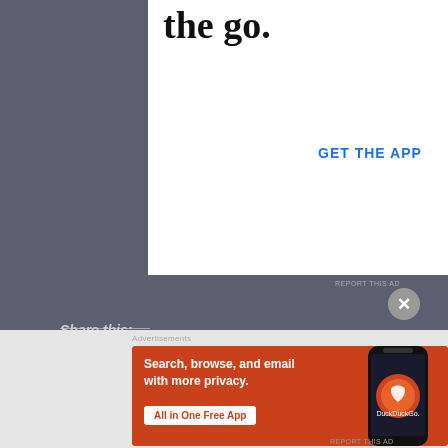[Figure (screenshot): WordPress 'Get the App' advertisement banner with WordPress logo on white background, partially cropped at top]
REPORT THIS AD
Share this:
Save 1
Like
3 bloggers like this.
Advertisements
[Figure (screenshot): DuckDuckGo advertisement: 'Search, browse, and email with more privacy. All in One Free App' with phone graphic on orange/red background]